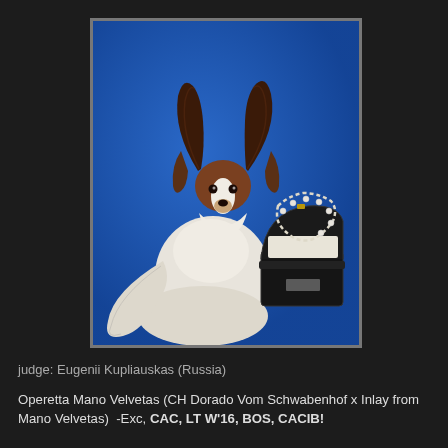[Figure (photo): A Papillon dog with white and brown fur sitting next to an open black jewelry box with pearl necklace, posed against a bright blue background. The photo is framed with a thin gray border.]
judge: Eugenii Kupliauskas (Russia)
Operetta Mano Velvetas (CH Dorado Vom Schwabenhof x Inlay from Mano Velvetas)  -Exc, CAC, LT W'16, BOS, CACIB!